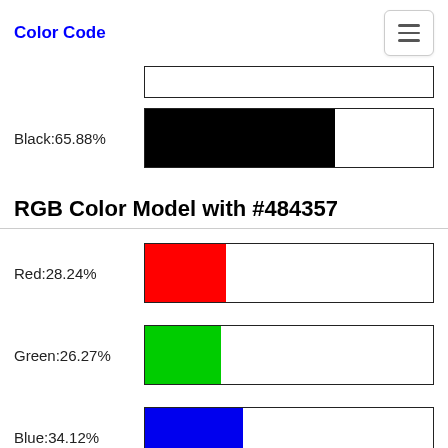Color Code
[Figure (bar-chart): Black:65.88%]
RGB Color Model with #484357
[Figure (bar-chart): Red:28.24%]
[Figure (bar-chart): Green:26.27%]
[Figure (bar-chart): Blue:34.12%]